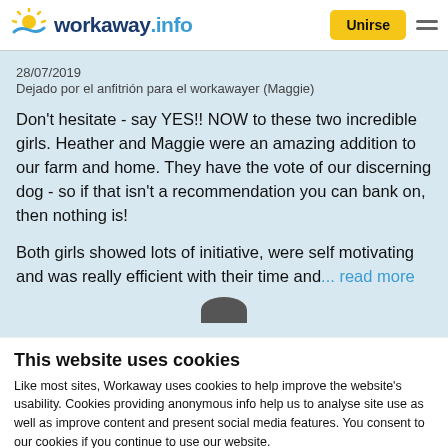[Figure (logo): Workaway.info logo with sun graphic]
28/07/2019
Dejado por el anfitrión para el workawayer (Maggie)
Don't hesitate - say YES!! NOW to these two incredible girls. Heather and Maggie were an amazing addition to our farm and home. They have the vote of our discerning dog - so if that isn't a recommendation you can bank on, then nothing is!
Both girls showed lots of initiative, were self motivating and was really efficient with their time and... read more
This website uses cookies
Like most sites, Workaway uses cookies to help improve the website's usability. Cookies providing anonymous info help us to analyse site use as well as improve content and present social media features.  You consent to our cookies if you continue to use our website.
OK
Settings